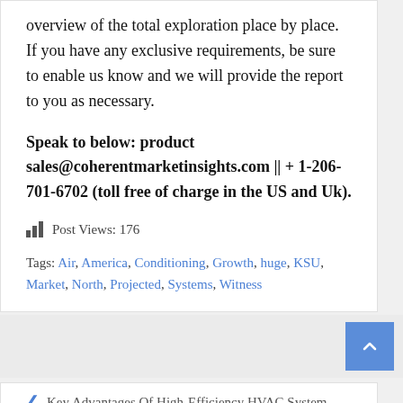overview of the total exploration place by place. If you have any exclusive requirements, be sure to enable us know and we will provide the report to you as necessary.
Speak to below: product sales@coherentmarketinsights.com || + 1-206-701-6702 (toll free of charge in the US and Uk).
Post Views: 176
Tags: Air, America, Conditioning, Growth, huge, KSU, Market, North, Projected, Systems, Witness
Key Advantages Of High-Efficiency HVAC System